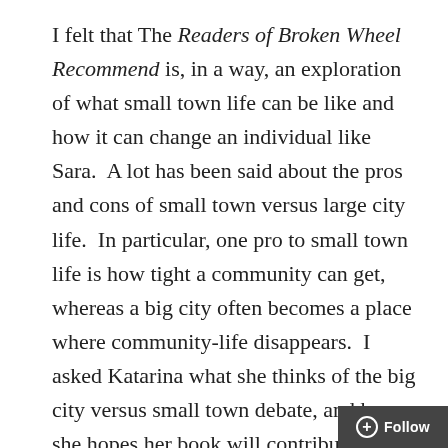I felt that The Readers of Broken Wheel Recommend is, in a way, an exploration of what small town life can be like and how it can change an individual like Sara.  A lot has been said about the pros and cons of small town versus large city life.  In particular, one pro to small town life is how tight a community can get, whereas a big city often becomes a place where community-life disappears.  I asked Katarina what she thinks of the big city versus small town debate, and how she hopes her book will contribute to the